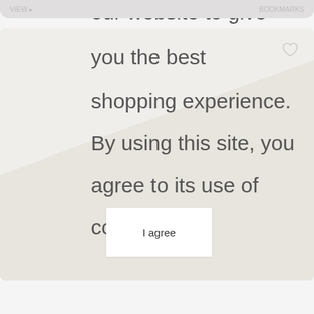[Figure (screenshot): Screenshot of a mobile e-commerce website showing a cookie consent notice overlay with large grey text and an I agree button on a light beige/grey background with a product image partially visible.]
our website to give you the best shopping experience. By using this site, you agree to its use of cookies.
I agree